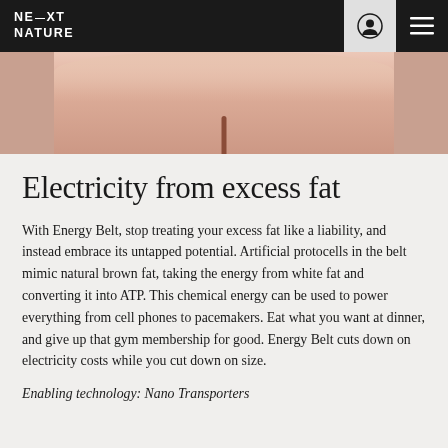NEXT NATURE
[Figure (photo): Cropped close-up photo of a human torso/lower back area with skin tones, partially visible against a light background]
Electricity from excess fat
With Energy Belt, stop treating your excess fat like a liability, and instead embrace its untapped potential. Artificial protocells in the belt mimic natural brown fat, taking the energy from white fat and converting it into ATP. This chemical energy can be used to power everything from cell phones to pacemakers. Eat what you want at dinner, and give up that gym membership for good. Energy Belt cuts down on electricity costs while you cut down on size.
Enabling technology: Nano Transporters